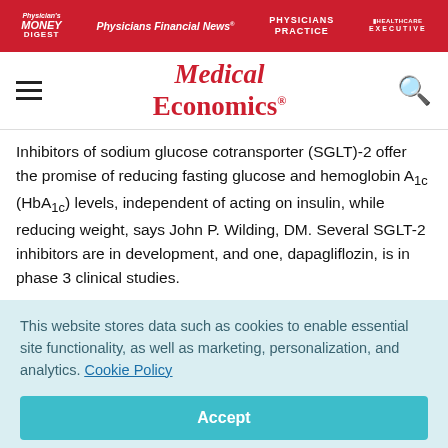Physician's Money Digest | Physicians Financial News | Physicians Practice | Healthcare Executive
[Figure (logo): Medical Economics red logo with hamburger menu and search icon]
Inhibitors of sodium glucose cotransporter (SGLT)-2 offer the promise of reducing fasting glucose and hemoglobin A1c (HbA1c) levels, independent of acting on insulin, while reducing weight, says John P. Wilding, DM. Several SGLT-2 inhibitors are in development, and one, dapagliflozin, is in phase 3 clinical studies.
This website stores data such as cookies to enable essential site functionality, as well as marketing, personalization, and analytics. Cookie Policy
Accept
Deny